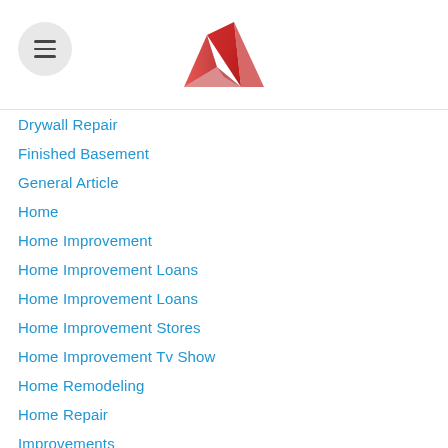[Figure (logo): Red origami crown/mountain logo at center top of page header]
Drywall Repair
Finished Basement
General Article
Home
Home Improvement
Home Improvement Loans
Home Improvement Loans
Home Improvement Stores
Home Improvement Tv Show
Home Remodeling
Home Repair
Improvements
Kitchen Design Ideas
Kitchen Ideas
Kitchen Remodel Cost
Kitchen Remodel Ideas
Lowe'S Home Improvement